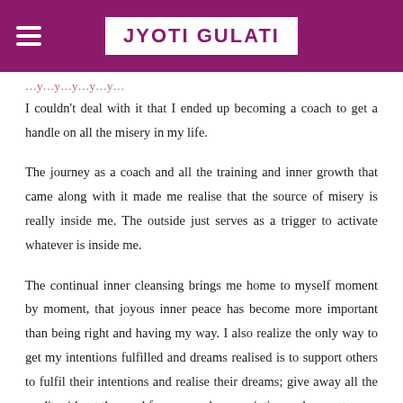JYOTI GULATI
I couldn't deal with it that I ended up becoming a coach to get a handle on all the misery in my life.
The journey as a coach and all the training and inner growth that came along with it made me realise that the source of misery is really inside me. The outside just serves as a trigger to activate whatever is inside me.
The continual inner cleansing brings me home to myself moment by moment, that joyous inner peace has become more important than being right and having my way. I also realize the only way to get my intentions fulfilled and dreams realised is to support others to fulfil their intentions and realise their dreams; give away all the credit without the need for approval, appreciation and respect